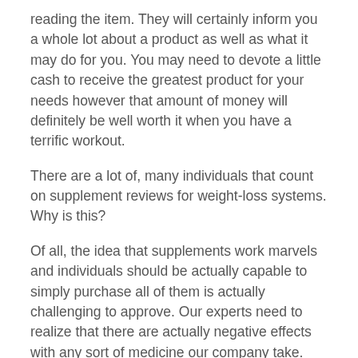reading the item. They will certainly inform you a whole lot about a product as well as what it may do for you. You may need to devote a little cash to receive the greatest product for your needs however that amount of money will definitely be well worth it when you have a terrific workout.
There are a lot of, many individuals that count on supplement reviews for weight-loss systems. Why is this?
Of all, the idea that supplements work marvels and individuals should be actually capable to simply purchase all of them is actually challenging to approve. Our experts need to realize that there are actually negative effects with any sort of medicine our company take. With a natural method it may be actually a bit a lot more tough to handle.
A lot of folks recognize along with the negative effects of taking tablets. They consist of problems